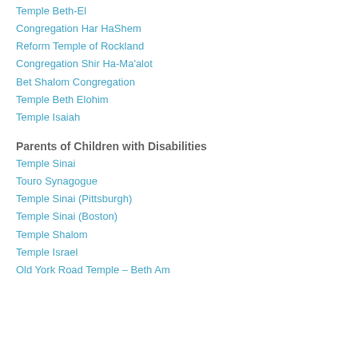Temple Beth-El
Congregation Har HaShem
Reform Temple of Rockland
Congregation Shir Ha-Ma'alot
Bet Shalom Congregation
Temple Beth Elohim
Temple Isaiah
Parents of Children with Disabilities
Temple Sinai
Touro Synagogue
Temple Sinai (Pittsburgh)
Temple Sinai (Boston)
Temple Shalom
Temple Israel
Old York Road Temple – Beth Am